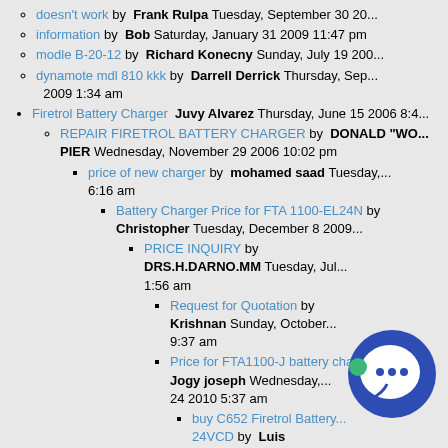doesn't work by Frank Rulpa Tuesday, September 30 20...
information by Bob Saturday, January 31 2009 11:47 pm
modle B-20-12 by Richard Konecny Sunday, July 19 200...
dynamote mdl 810 kkk by Darrell Derrick Thursday, Sep... 2009 1:34 am
Firetrol Battery Charger Juvy Alvarez Thursday, June 15 2006 8:4...
REPAIR FIRETROL BATTERY CHARGER by DONALD "WO... PIER Wednesday, November 29 2006 10:02 pm
price of new charger by mohamed saad Tuesday,... 6:16 am
Battery Charger Price for FTA 1100-EL24N by Christopher Tuesday, December 8 2009...
PRICE INQUIRY by DRS.H.DARNO.MM Tuesday, Jul... 1:56 am
Request for Quotation by Krishnan Sunday, October... 9:37 am
Price for FTA1100-J battery charg... Jogy joseph Wednesday,... 24 2010 5:37 am
buy C652 Firetrol Battery... 24VCD by Luis Hernandez Thursday... 2011 7:26 pm
Request For Quota... Nurul Wedr... ust 7:06 am
Enquiry by emi Yulita Fr... ugus... 5:04 am